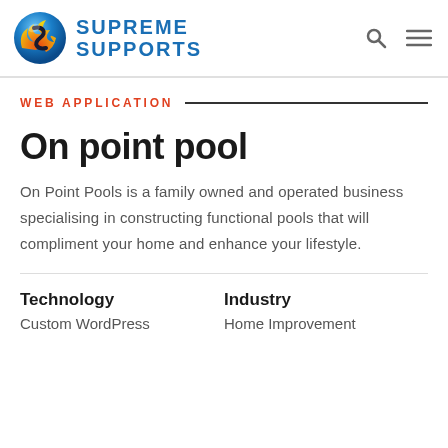SUPREME SUPPORTS
WEB APPLICATION
On point pool
On Point Pools is a family owned and operated business specialising in constructing functional pools that will compliment your home and enhance your lifestyle.
Technology
Custom WordPress
Industry
Home Improvement